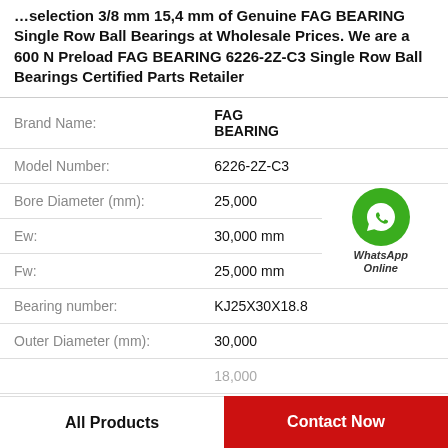selection 3/8 mm 15,4 mm of Genuine FAG BEARING Single Row Ball Bearings at Wholesale Prices. We are a 600 N Preload FAG BEARING 6226-2Z-C3 Single Row Ball Bearings Certified Parts Retailer
| Field | Value |
| --- | --- |
| Brand Name: | FAG BEARING |
| Model Number: | 6226-2Z-C3 |
| Bore Diameter (mm): | 25,000 |
| Ew: | 30,000 mm |
| Fw: | 25,000 mm |
| Bearing number: | KJ25X30X18.8 |
| Outer Diameter (mm): | 30,000 |
|  | 18,000 |
[Figure (logo): WhatsApp Online green circle icon with phone handset, with text 'WhatsApp Online' below]
All Products
Contact Now